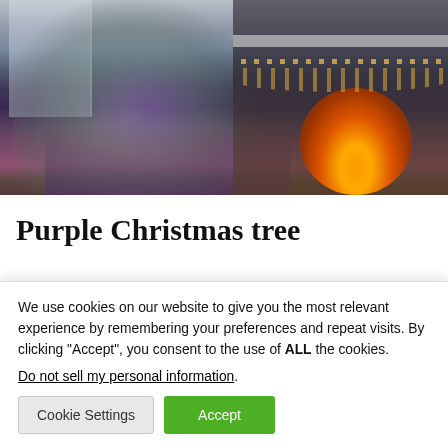[Figure (photo): A decorated Christmas tree with purple and silver ornaments, surrounded by wrapped gifts in purple and silver, next to a lit fireplace with garland and candles on the mantle in a cozy living room.]
Purple Christmas tree
We use cookies on our website to give you the most relevant experience by remembering your preferences and repeat visits. By clicking “Accept”, you consent to the use of ALL the cookies.
Do not sell my personal information.